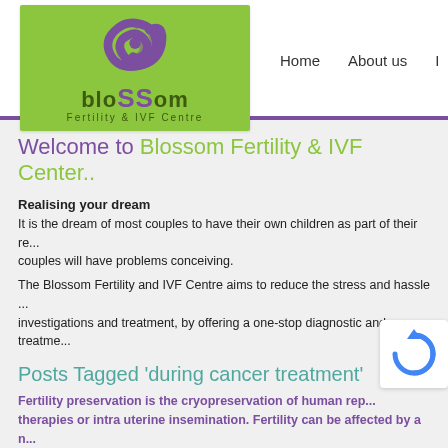[Figure (logo): Blossom Fertility & IVF Centre logo with green background, purple swirl, and dark green text]
Home    About us    I...
Welcome to Blossom Fertility & IVF Center..
Realising your dream
It is the dream of most couples to have their own children as part of their re... couples will have problems conceiving.
The Blossom Fertility and IVF Centre aims to reduce the stress and hassle ... investigations and treatment, by offering a one-stop diagnostic and treatme...
Posts Tagged 'during cancer treatment'
Fertility preservation is the cryopreservation of human rep... therapies or intra uterine insemination. Fertility can be affected by a n...